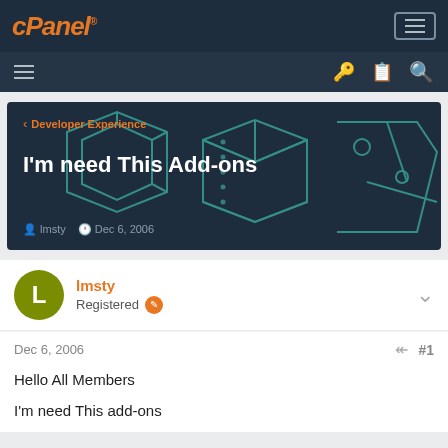cPanel
[Figure (screenshot): cPanel forum hero banner with geometric teal line art showing boxes and folders on dark navy background. Breadcrumb: Developer Experience. Title: I'm need This Add-ons. Author: lmsty, Date: Dec 6, 2006]
lmsty
Registered
Dec 6, 2006
#1
Hello All Members
I'm need This add-ons